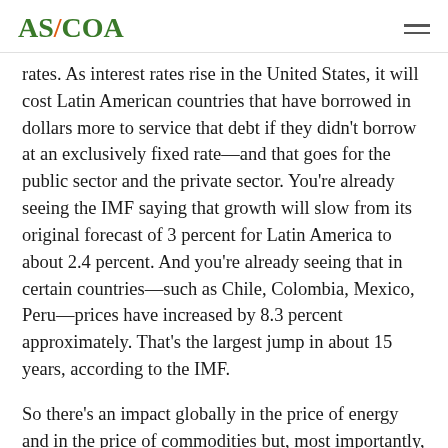AS/COA
rates. As interest rates rise in the United States, it will cost Latin American countries that have borrowed in dollars more to service that debt if they didn't borrow at an exclusively fixed rate—and that goes for the public sector and the private sector. You're already seeing the IMF saying that growth will slow from its original forecast of 3 percent for Latin America to about 2.4 percent. And you're already seeing that in certain countries—such as Chile, Colombia, Mexico, Peru—prices have increased by 8.3 percent approximately. That's the largest jump in about 15 years, according to the IMF.
So there's an impact globally in the price of energy and in the price of commodities but, most importantly, you're going to see inflation in the United States, which will drive higher interest rates. We know the Fed is